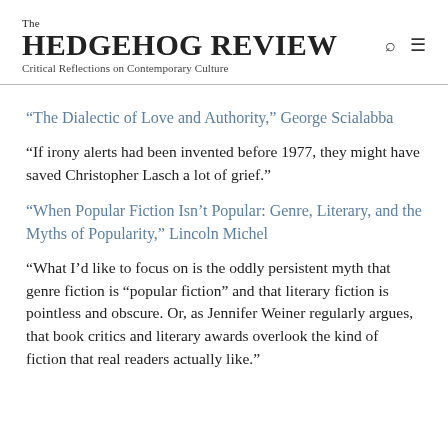The HEDGEHOG REVIEW
Critical Reflections on Contemporary Culture
“The Dialectic of Love and Authority,” George Scialabba
“If irony alerts had been invented before 1977, they might have saved Christopher Lasch a lot of grief.”
“When Popular Fiction Isn’t Popular: Genre, Literary, and the Myths of Popularity,” Lincoln Michel
“What I’d like to focus on is the oddly persistent myth that genre fiction is “popular fiction” and that literary fiction is pointless and obscure. Or, as Jennifer Weiner regularly argues, that book critics and literary awards overlook the kind of fiction that real readers actually like.”